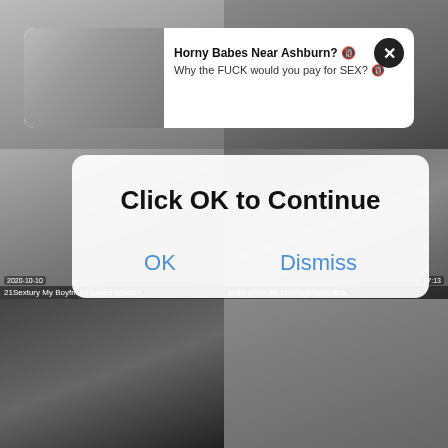[Figure (screenshot): Website screenshot showing a grid of video thumbnails with two overlaid popups: an advertisement banner reading 'Horny Babes Near Ashburn?' and a modal dialog reading 'Click OK to Continue' with OK and Dismiss buttons.]
Horny Babes Near Ashburn? 
Why the FUCK would you pay for SEX?
Click OK to Continue
OK
Dismiss
2020-10-10
57:13
21Sextury My Boyfriend Loves When I
cutie small tits bondage hard fuck